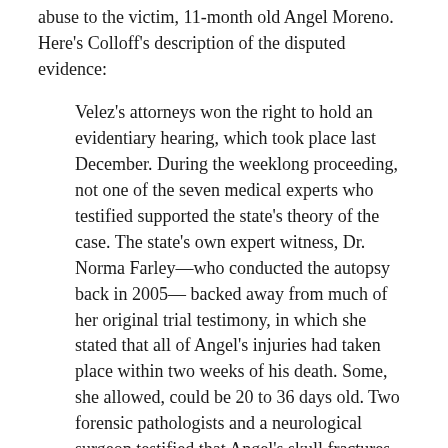abuse to the victim, 11-month old Angel Moreno. Here's Colloff's description of the disputed evidence:
Velez's attorneys won the right to hold an evidentiary hearing, which took place last December. During the weeklong proceeding, not one of the seven medical experts who testified supported the state's theory of the case. The state's own expert witness, Dr. Norma Farley—who conducted the autopsy back in 2005—backed away from much of her original trial testimony, in which she stated that all of Angel's injuries had taken place within two weeks of his death. Some, she allowed, could be 20 to 36 days old. Two forensic pathologists and a neurological surgeon testified that Angel's skull fractures were more than two weeks old, and perhaps months old. Forensic pathologist Dr. Janice Ophoven explained that not much trauma was needed to push Angel into a critical state on October 31, 2005, if his brain was already swollen from head trauma. A rapid